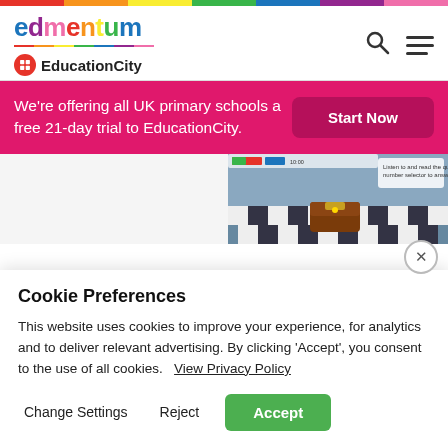edmentum EducationCity
We're offering all UK primary schools a free 21-day trial to EducationCity.
Start Now
[Figure (screenshot): Screenshot of EducationCity educational game showing a classroom/dungeon scene with a treasure chest on a checkered floor and a math question interface.]
Cookie Preferences
This website uses cookies to improve your experience, for analytics and to deliver relevant advertising. By clicking 'Accept', you consent to the use of all cookies.  View Privacy Policy
Change Settings   Reject   Accept